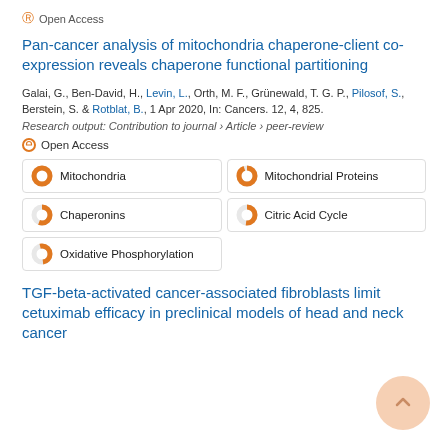Open Access
Pan-cancer analysis of mitochondria chaperone-client co-expression reveals chaperone functional partitioning
Galai, G., Ben-David, H., Levin, L., Orth, M. F., Grünewald, T. G. P., Pilosof, S., Berstein, S. & Rotblat, B., 1 Apr 2020, In: Cancers. 12, 4, 825.
Research output: Contribution to journal › Article › peer-review
Open Access
Mitochondria
Mitochondrial Proteins
Chaperonins
Citric Acid Cycle
Oxidative Phosphorylation
TGF-beta-activated cancer-associated fibroblasts limit cetuximab efficacy in preclinical models of head and neck cancer